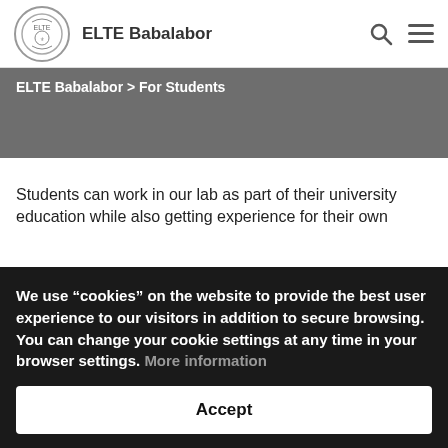ELTE Babalabor
ELTE Babalabor > For Students
Students can work in our lab as part of their university education while also getting experience for their own...
We use “cookies” on the website to provide the best user experience to our visitors in addition to secure browsing. You can change your cookie settings at any time in your browser settings. More information
Accept